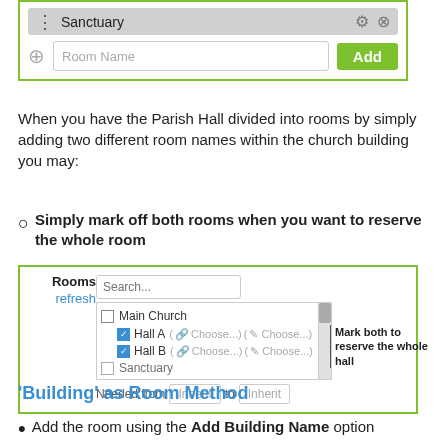[Figure (screenshot): UI screenshot showing Sanctuary room row with gear and X icons, and a Room Name input field with green Add button]
When you have the Parish Hall divided into rooms by simply adding two different room names within the church building you may:
Simply mark off both rooms when you want to reserve the whole room
[Figure (screenshot): UI screenshot showing Rooms/refresh panel with search box, checklist including Main Church, Hall A (checked), Hall B (checked), Sanctuary. Annotation: Mark both to reserve the whole hall. Needed from Inherit to Inherit fields.]
'Building' as Room Method
Add the room using the Add Building Name option